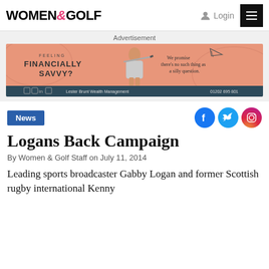WOMEN&GOLF | Login | Menu
Advertisement
[Figure (illustration): Lester Brunt Wealth Management advertisement banner showing a woman golfer from behind holding a golf club overhead, salmon/pink background with text: FEELING FINANCIALLY SAVVY? We promise there's no such thing as a silly question. Lester Brunt Wealth Management 01202 695 801]
News
Logans Back Campaign
By Women & Golf Staff on July 11, 2014
Leading sports broadcaster Gabby Logan and former Scottish rugby international Kenny